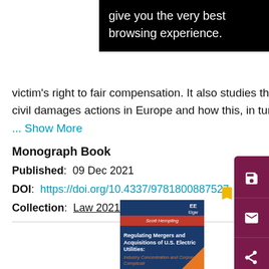[Figure (screenshot): Black tooltip overlay showing text: 'give you the very best browsing experience.']
victim's right to fair compensation. It also studies the possible consequences of an anticipated rise in civil damages actions in Europe and how this, in turn, ma
... Show More
Monograph Book
Published:  09 Dec 2021
DOI:  https://doi.org/10.4337/9781800887527
Collection:  Law 2021
[Figure (photo): Book cover thumbnail: 'Regulating Mergers and Acquisitions of U.S. Electric Utilities: Industry Concentration and Corporate Complications' by Scott Hempling, published by Edward Elgar]